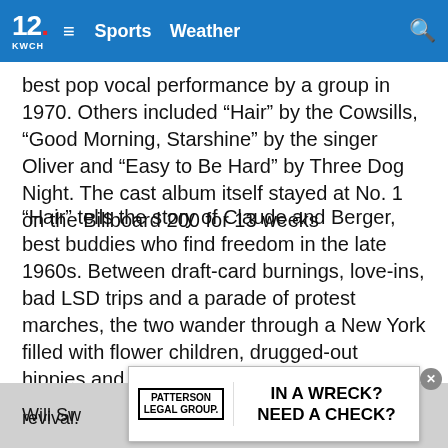12 KWCH | Sports | Weather
best pop vocal performance by a group in 1970. Others included “Hair” by the Cowsills, “Good Morning, Starshine” by the singer Oliver and “Easy to Be Hard” by Three Dog Night. The cast album itself stayed at No. 1 on the Billboard 200 for 13 weeks
“Hair” tells the story of Claude and Berger, best buddies who find freedom in the late 1960s. Between draft-card burnings, love-ins, bad LSD trips and a parade of protest marches, the two wander through a New York filled with flower children, drugged-out hippies and outraged tourists who don’t approve of the wild goings-on. In one song, Claude poignantly sings, “Why do I live, why do I die, tell me where do I go, tell me why.”
Will Sw... 09 revival.
[Figure (other): Patterson Legal Group advertisement: IN A WRECK? NEED A CHECK?]